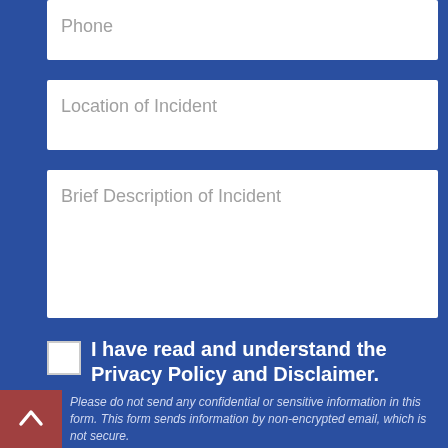Phone
Location of Incident
Brief Description of Incident
I have read and understand the Privacy Policy and Disclaimer.
Please do not send any confidential or sensitive information in this form. This form sends information by non-encrypted email, which is not secure.